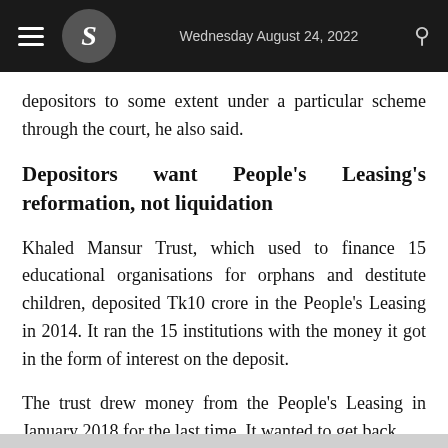Wednesday August 24, 2022
depositors to some extent under a particular scheme through the court, he also said.
Depositors want People's Leasing's reformation, not liquidation
Khaled Mansur Trust, which used to finance 15 educational organisations for orphans and destitute children, deposited Tk10 crore in the People's Leasing in 2014. It ran the 15 institutions with the money it got in the form of interest on the deposit.
The trust drew money from the People's Leasing in January 2018 for the last time. It wanted to get back